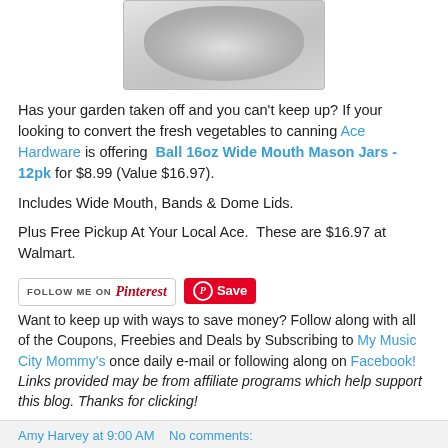[Figure (photo): Top portion of a glass mason jar, shown from above/side angle, gray/silver tones, partially cropped at top of page]
Has your garden taken off and you can't keep up?  If your looking to convert the fresh vegetables to canning Ace Hardware is offering  Ball 16oz Wide Mouth Mason Jars - 12pk for $8.99 (Value $16.97).
Includes Wide Mouth, Bands & Dome Lids.
Plus Free Pickup At Your Local Ace.  These are $16.97 at Walmart.
[Figure (logo): Follow me on Pinterest button (red script text on white background with border)]
[Figure (logo): Pinterest Save button (red rounded rectangle with P icon and Save text)]
Want to keep up with ways to save money? Follow along with all of the Coupons, Freebies and Deals by Subscribing to My Music City Mommy's once daily e-mail or following along on Facebook! Links provided may be from affiliate programs which help support this blog. Thanks for clicking!
Amy Harvey at 9:00 AM   No comments: